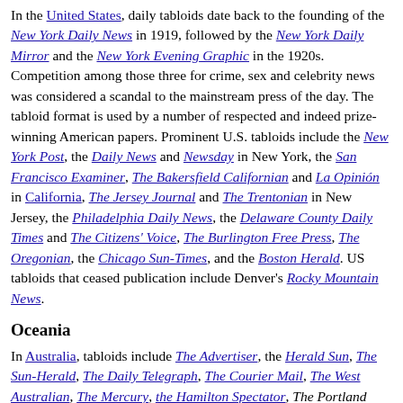In the United States, daily tabloids date back to the founding of the New York Daily News in 1919, followed by the New York Daily Mirror and the New York Evening Graphic in the 1920s. Competition among those three for crime, sex and celebrity news was considered a scandal to the mainstream press of the day. The tabloid format is used by a number of respected and indeed prize-winning American papers. Prominent U.S. tabloids include the New York Post, the Daily News and Newsday in New York, the San Francisco Examiner, The Bakersfield Californian and La Opinión in California, The Jersey Journal and The Trentonian in New Jersey, the Philadelphia Daily News, the Delaware County Daily Times and The Citizens' Voice, The Burlington Free Press, The Oregonian, the Chicago Sun-Times, and the Boston Herald. US tabloids that ceased publication include Denver's Rocky Mountain News.
Oceania
In Australia, tabloids include The Advertiser, the Herald Sun, The Sun-Herald, The Daily Telegraph, The Courier Mail, The West Australian, The Mercury, the Hamilton Spectator, The Portland Observer, The Casterton News and The Melbourne Observer.
South America